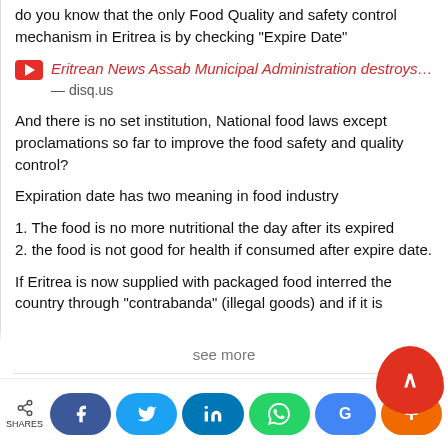do you know that the only Food Quality and safety control mechanism in Eritrea is by checking "Expire Date"
Eritrean News Assab Municipal Administration destroys… — disq.us
And there is no set institution, National food laws except proclamations so far to improve the food safety and quality control?
Expiration date has two meaning in food industry
1. The food is no more nutritional the day after its expired
2. the food is not good for health if consumed after expire date.
If Eritrea is now supplied with packaged food interred the country through "contrabanda" (illegal goods) and if it is
see more
2 ∧ | ∨ Reply
SHARES — Facebook, Twitter, LinkedIn, WhatsApp, Google+, +